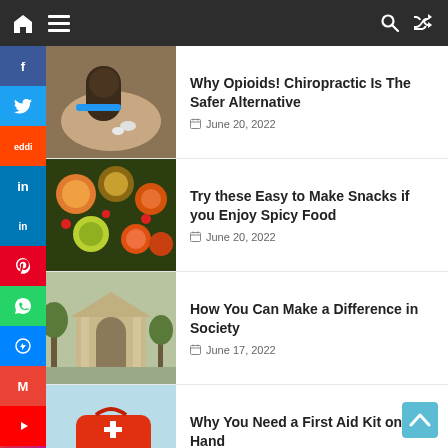Navigation bar with home, menu, search, and shuffle icons
Why Opioids! Chiropractic Is The Safer Alternative
June 20, 2022
Try these Easy to Make Snacks if you Enjoy Spicy Food
June 20, 2022
How You Can Make a Difference in Society
June 17, 2022
Why You Need a First Aid Kit on Hand
June 15, 2022